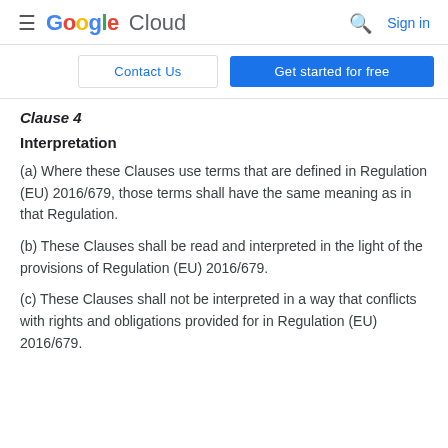Google Cloud — Sign in
Contact Us | Get started for free
Clause 4
Interpretation
(a) Where these Clauses use terms that are defined in Regulation (EU) 2016/679, those terms shall have the same meaning as in that Regulation.
(b) These Clauses shall be read and interpreted in the light of the provisions of Regulation (EU) 2016/679.
(c) These Clauses shall not be interpreted in a way that conflicts with rights and obligations provided for in Regulation (EU) 2016/679.